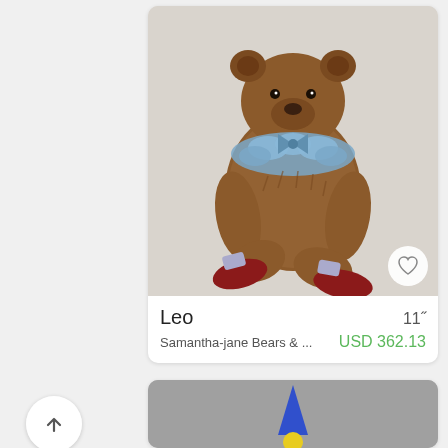[Figure (photo): A handcrafted teddy bear named Leo with brown curly fur, wearing a blue ruffled collar with bow and red shoes with blue striped socks, sitting against a light background.]
Leo  11"
Samantha-jane Bears & ...  USD 362.13
[Figure (photo): Partial view of another handcrafted item on a gray background, appears to show a blue pointed hat or costume piece.]